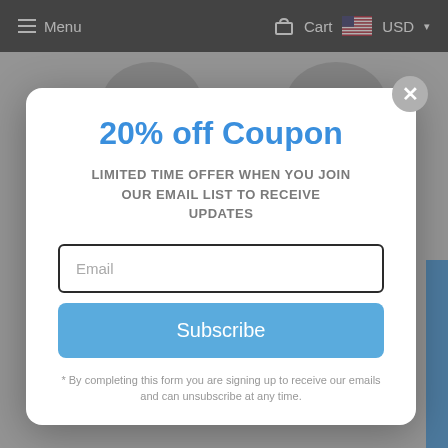Menu   Cart   USD
20% off Coupon
LIMITED TIME OFFER WHEN YOU JOIN OUR EMAIL LIST TO RECEIVE UPDATES
Email
Subscribe
* By completing this form you are signing up to receive our emails and can unsubscribe at any time.